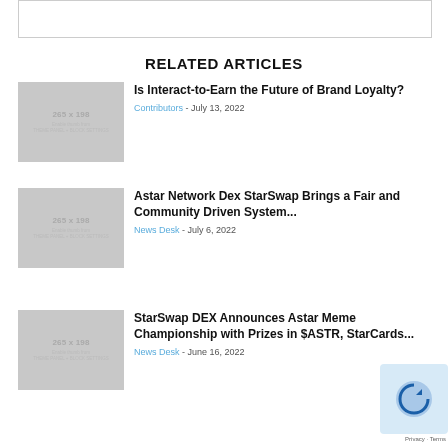[Figure (other): Top strip showing partial image/logo at top of page]
RELATED ARTICLES
[Figure (other): Placeholder thumbnail 265x198 - Enable thumb from THEME PANEL + BLOCK SETTINGS]
Is Interact-to-Earn the Future of Brand Loyalty?
Contributors - July 13, 2022
[Figure (other): Placeholder thumbnail 265x198 - Enable thumb from THEME PANEL + BLOCK SETTINGS]
Astar Network Dex StarSwap Brings a Fair and Community Driven System...
News Desk - July 6, 2022
[Figure (other): Placeholder thumbnail 265x198 - Enable thumb from THEME PANEL + BLOCK SETTINGS]
StarSwap DEX Announces Astar Meme Championship with Prizes in $ASTR, StarCards...
News Desk - June 16, 2022